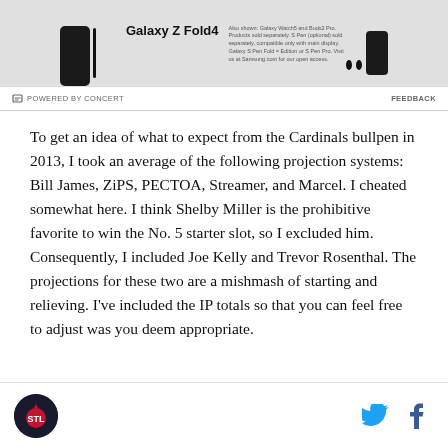[Figure (photo): Samsung Galaxy Z Fold4 advertisement banner showing a folding phone and accessories]
To get an idea of what to expect from the Cardinals bullpen in 2013, I took an average of the following projection systems: Bill James, ZiPS, PECTOA, Streamer, and Marcel. I cheated somewhat here. I think Shelby Miller is the prohibitive favorite to win the No. 5 starter slot, so I excluded him. Consequently, I included Joe Kelly and Trevor Rosenthal. The projections for these two are a mishmash of starting and relieving. I've included the IP totals so that you can feel free to adjust was you deem appropriate.
Cardinals logo | Twitter icon | Facebook icon